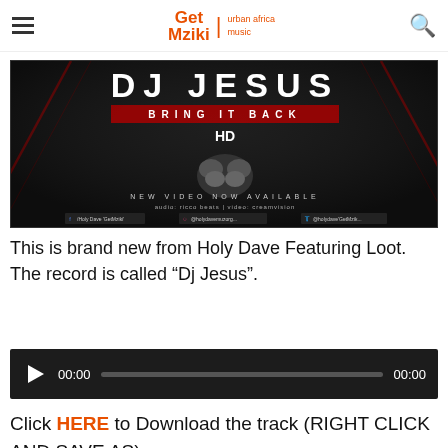Get Mziki | urban africa music
[Figure (photo): DJ Jesus 'Bring It Back' music promotional image with text overlay on dark background with red diagonal light streaks. Shows 'DJ JESUS', 'BRING IT BACK', HD logo, clasped hands, 'NEW VIDEO NOW AVAILABLE', credits and social media handles.]
This is brand new from Holy Dave Featuring Loot. The record is called “Dj Jesus”.
[Figure (other): Audio player widget with play button, time display 00:00, progress bar, and end time 00:00]
Click HERE to Download the track (RIGHT CLICK AND SAVE AS)